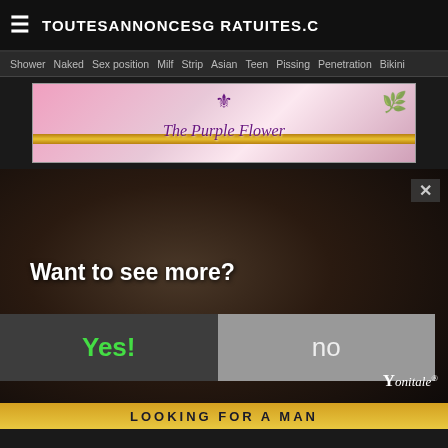≡ TOUTESANNONCESG RATUITES.C
Shower  Naked  Sex position  Milf  Strip  Asian  Teen  Pissing  Penetration  Bikini
[Figure (photo): Pink banner advertisement for 'The Purple Flower' with gold stripe and purple fleur-de-lis emblem]
[Figure (screenshot): Adult website popup overlay with background photo and dialog asking 'Want to see more?' with Yes! and no buttons. Yonitale watermark visible. Bottom banner reads LOOKING FOR A MAN.]